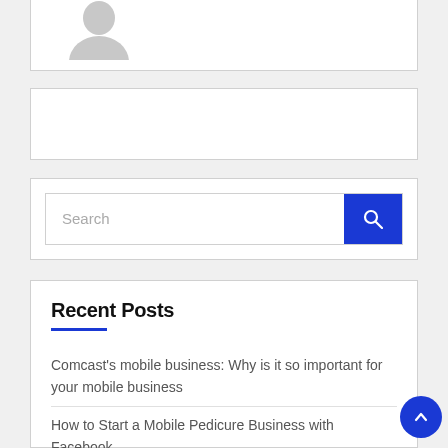[Figure (photo): Partial view of a user profile card with a gray avatar/silhouette icon visible at the bottom edge]
[Figure (other): Empty white banner/advertisement box with light border]
Search
Recent Posts
Comcast’s mobile business: Why is it so important for your mobile business
How to Start a Mobile Pedicure Business with Facebook